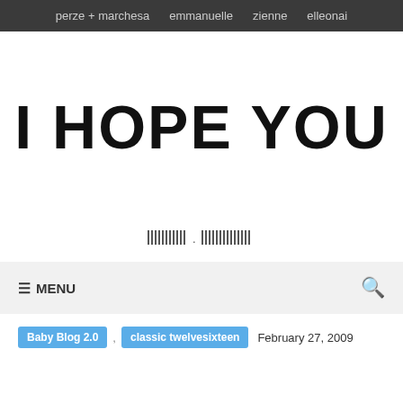perze + marchesa   emmanuelle   zienne   elleonai
I HOPE YOU
[Figure (other): Barcode-style decorative element with two groups of vertical bars separated by a dot]
≡ MENU
Baby Blog 2.0
classic twelvesixteen
February 27, 2009